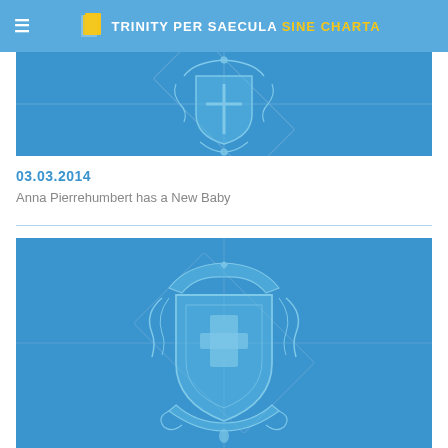TRINITY PER SAECULA SINE CHARTA
[Figure (illustration): Blue banner image with a lighter blue heraldic crest/shield emblem on a blue background]
03.03.2014
Anna Pierrehumbert has a New Baby
[Figure (illustration): Blue square image with a lighter blue heraldic shield crest featuring a cross, surrounded by decorative ribbon banners on a blue background]